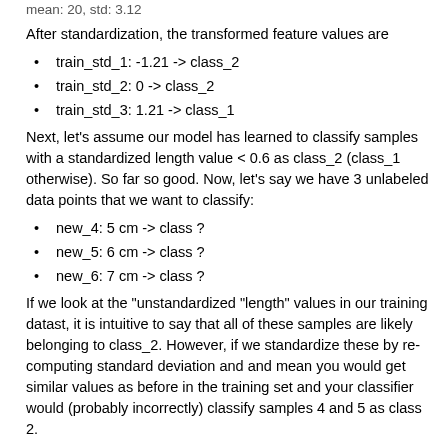mean: 20, std: 3.12
After standardization, the transformed feature values are
train_std_1: -1.21 -> class_2
train_std_2: 0 -> class_2
train_std_3: 1.21 -> class_1
Next, let's assume our model has learned to classify samples with a standardized length value < 0.6 as class_2 (class_1 otherwise). So far so good. Now, let's say we have 3 unlabeled data points that we want to classify:
new_4: 5 cm -> class ?
new_5: 6 cm -> class ?
new_6: 7 cm -> class ?
If we look at the "unstandardized "length" values in our training datast, it is intuitive to say that all of these samples are likely belonging to class_2. However, if we standardize these by re-computing standard deviation and and mean you would get similar values as before in the training set and your classifier would (probably incorrectly) classify samples 4 and 5 as class 2.